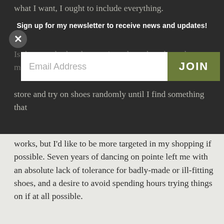what I want, I ought to include everything.
Sign up for my newsletter to receive news and updates!
Email Address
JOIN
Is there anybody who consistently makes shoes that match this description? I currently just walk into a shoe store and try on shoes randomly until I find something that works, but I'd like to be more targeted in my shopping if possible. Seven years of dancing on pointe left me with an absolute lack of tolerance for badly-made or ill-fitting shoes, and a desire to avoid spending hours trying things on if at all possible.
10-17-2014 10:31 AM
1
“The next day Mr Earbrass is conscious but very little more”
The problem with being in physical therapy is that even when I’ve declared a Day Off From Everything, I still have to do that.
I mean, I could skip it. But since my happiness is better served by